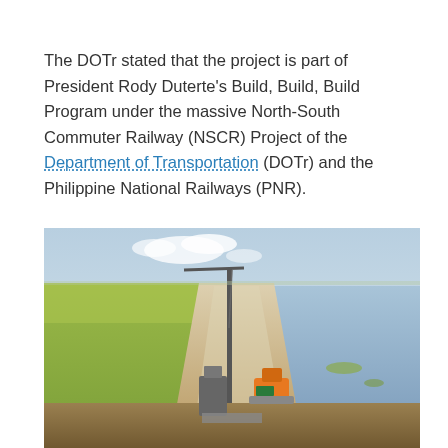The DOTr stated that the project is part of President Rody Duterte's Build, Build, Build Program under the massive North-South Commuter Railway (NSCR) Project of the Department of Transportation (DOTr) and the Philippine National Railways (PNR).
[Figure (photo): Aerial view of a railway construction site with heavy equipment including a crane and excavator on a long embankment road flanked by green fields on the left and water on the right]